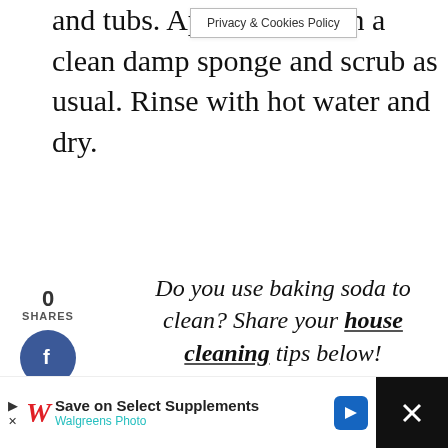and tubs. Apply lightly on a clean damp sponge and scrub as usual. Rinse with hot water and dry.
[Figure (screenshot): Privacy & Cookies Policy browser popup banner]
Do you use baking soda to clean? Share your house cleaning tips below!
[Figure (infographic): Social sharing buttons: 0 SHARES, Facebook (blue circle), Twitter (blue circle), Pinterest (red circle)]
[Figure (infographic): Right side action buttons: heart/like button (teal), count 1, share button]
[Figure (infographic): WHAT'S NEXT arrow promo: 5 Ways to Clean with... with thumbnail image]
[Figure (screenshot): Advertisement bar: Walgreens Photo - Save on Select Supplements, with navigation arrow and black bar with X close button]